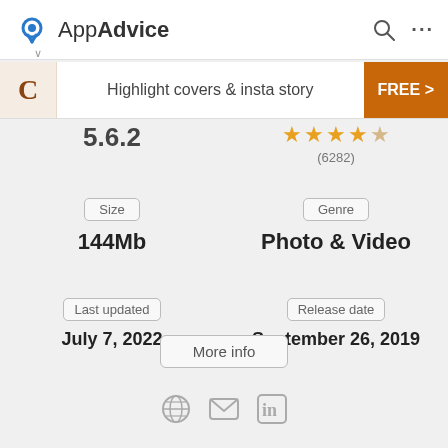AppAdvice
[Figure (screenshot): AppAdvice website header with logo, search icon, and menu]
Highlight covers & insta story  FREE >
5.6.2
(6282)
Size
144Mb
Genre
Photo & Video
Last updated
July 7, 2022
Release date
September 26, 2019
More info